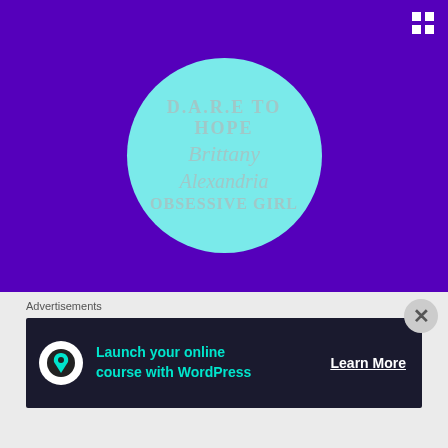[Figure (illustration): Cyan circle on purple background containing stacked text: D.A.R.E TO HOPE, Brittany, Alexandria, OBSESSIVE GIRL. A 2x2 grid icon appears in the top-right corner.]
7th Heaven
Advertisements
[Figure (screenshot): Advertisement banner: dark background with circular icon, text 'Launch your online course with WordPress', and 'Learn More' button.]